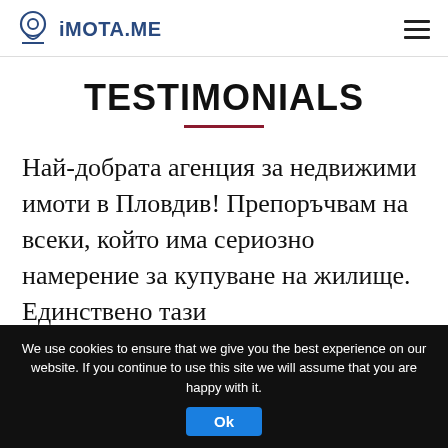iMOTA.ME
TESTIMONIALS
Най-добрата агенция за недвижими имоти в Пловдив! Препоръчвам на всеки, който има сериозно намерение за купуване на жилище. Единствено тази
We use cookies to ensure that we give you the best experience on our website. If you continue to use this site we will assume that you are happy with it.